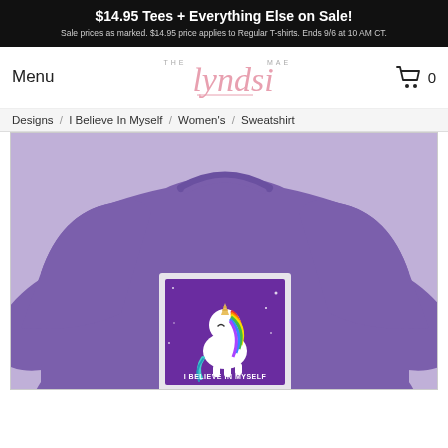$14.95 Tees + Everything Else on Sale! Sale prices as marked. $14.95 price applies to Regular T-shirts. Ends 9/6 at 10 AM CT.
Menu
[Figure (logo): THE lyndsi MAE logo in pink script]
[Figure (infographic): Shopping cart icon with 0]
Designs / I Believe In Myself / Women's / Sweatshirt
[Figure (photo): Purple heather women's sweatshirt featuring a cute unicorn design with text 'I BELIEVE IN MYSELF' on a purple background graphic printed on the chest]